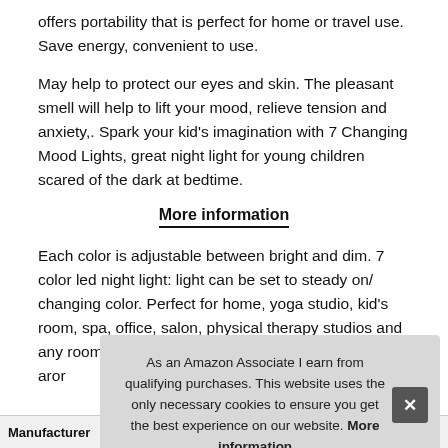offers portability that is perfect for home or travel use. Save energy, convenient to use.
May help to protect our eyes and skin. The pleasant smell will help to lift your mood, relieve tension and anxiety,. Spark your kid's imagination with 7 Changing Mood Lights, great night light for young children scared of the dark at bedtime.
More information
Each color is adjustable between bright and dim. 7 color led night light: light can be set to steady on/ changing color. Perfect for home, yoga studio, kid's room, spa, office, salon, physical therapy studios and any room you want arom...
As an Amazon Associate I earn from qualifying purchases. This website uses the only necessary cookies to ensure you get the best experience on our website. More information